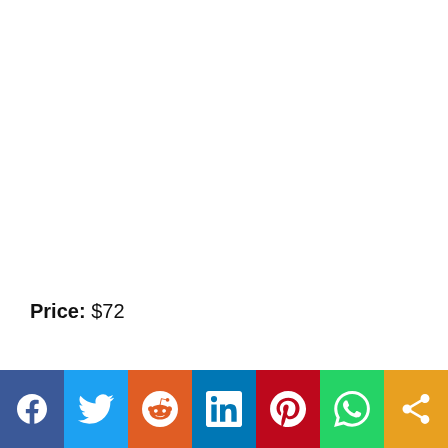Price: $72
[Figure (other): Social media sharing bar with icons for Facebook, Twitter, Reddit, LinkedIn, Pinterest, WhatsApp, and a generic share button]